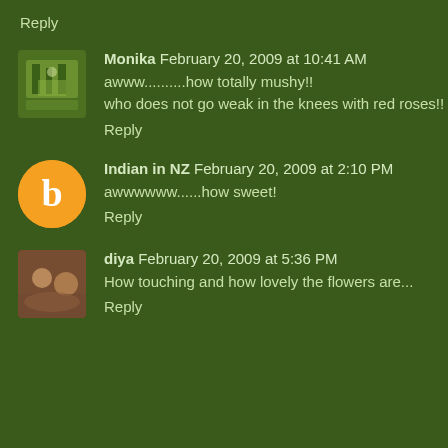Reply
Monika  February 20, 2009 at 10:41 AM
awww..........how totally mushy!!
who does not go weak in the knees with red roses!!
Reply
Indian in NZ  February 20, 2009 at 2:10 PM
awwwwww......how sweet!
Reply
diya  February 20, 2009 at 5:36 PM
How touching and how lovely the flowers are...
Reply